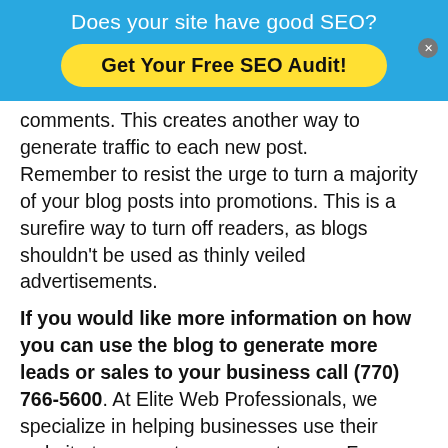[Figure (infographic): Blue banner with white text 'Does your site have good SEO?' and a yellow rounded button 'Get Your Free SEO Audit!']
comments. This creates another way to generate traffic to each new post.
Remember to resist the urge to turn a majority of your blog posts into promotions. This is a surefire way to turn off readers, as blogs shouldn't be used as thinly veiled advertisements.
If you would like more information on how you can use the blog to generate more leads or sales to your business call (770) 766-5600. At Elite Web Professionals, we specialize in helping businesses use their website to generate more customers. For information on how we can help you with your website needs, and to browse our website design services click here. We provide comprehensive search engine optimization and pay-per-click advertising services